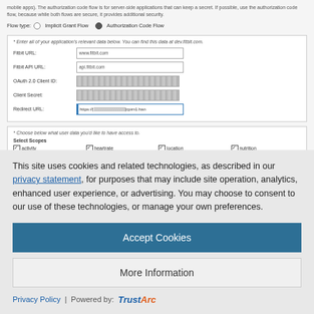mobile apps). The authorization code flow is for server-side applications that can keep a secret. If possible, use the authorization code flow, because while both flows are secure, it provides additional security.
Flow type: Implicit Grant Flow (radio) Authorization Code Flow (radio selected)
Enter all of your application's relevant data below. You can find this data at dev.fitbit.com.
Fitbit URL: www.fitbit.com
Fitbit API URL: api.fitbit.com
OAuth 2.0 Client ID: [blurred]
Client Secret: [blurred]
Redirect URL: https://[blurred]cpim1.han
Choose below what user data you'd like to have access to.
Select Scopes
activity
heartrate
location
nutrition
profile
settings
sleep
social
This site uses cookies and related technologies, as described in our privacy statement, for purposes that may include site operation, analytics, enhanced user experience, or advertising. You may choose to consent to our use of these technologies, or manage your own preferences.
Accept Cookies
More Information
Privacy Policy | Powered by: TrustArc